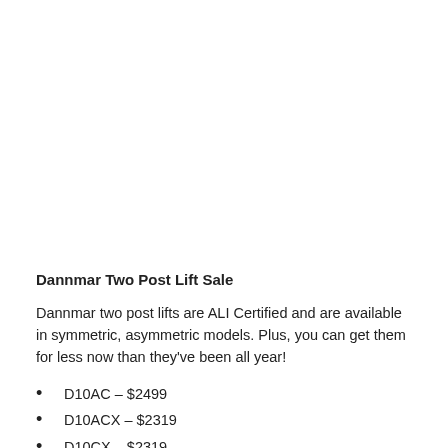Dannmar Two Post Lift Sale
Dannmar two post lifts are ALI Certified and are available in symmetric, asymmetric models. Plus, you can get them for less now than they've been all year!
D10AC – $2499
D10ACX – $2319
D10CX – $2319
D-9 – $2499